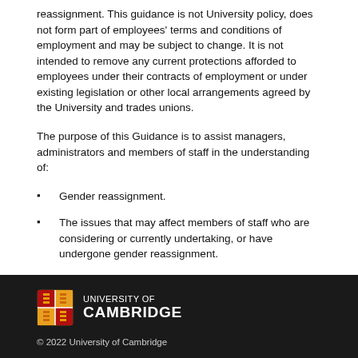reassignment. This guidance is not University policy, does not form part of employees' terms and conditions of employment and may be subject to change. It is not intended to remove any current protections afforded to employees under their contracts of employment or under existing legislation or other local arrangements agreed by the University and trades unions.
The purpose of this Guidance is to assist managers, administrators and members of staff in the understanding of:
Gender reassignment.
The issues that may affect members of staff who are considering or currently undertaking, or have undergone gender reassignment.
[Figure (logo): University of Cambridge shield logo in color with 'UNIVERSITY OF CAMBRIDGE' text in white on dark background]
© 2022 University of Cambridge